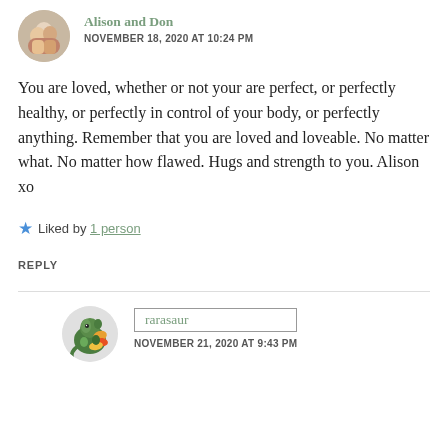Alison and Don — NOVEMBER 18, 2020 AT 10:24 PM
You are loved, whether or not your are perfect, or perfectly healthy, or perfectly in control of your body, or perfectly anything. Remember that you are loved and loveable. No matter what. No matter how flawed. Hugs and strength to you. Alison xo
Liked by 1 person
REPLY
rarasaur — NOVEMBER 21, 2020 AT 9:43 PM